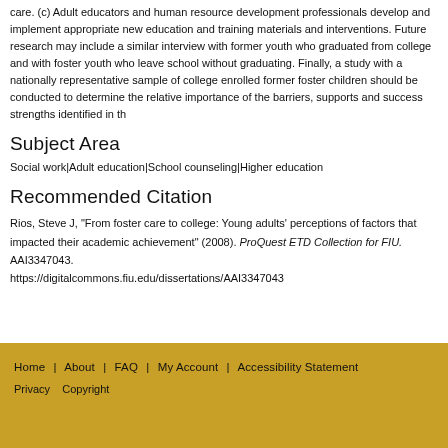care. (c) Adult educators and human resource development professionals develop and implement appropriate new education and training materials and interventions. Future research may include a similar interview with former youth who graduated from college and with foster youth who leave school without graduating. Finally, a study with a nationally representative sample of college enrolled former foster children should be conducted to determine the relative importance of the barriers, supports and success strengths identified in th
Subject Area
Social work|Adult education|School counseling|Higher education
Recommended Citation
Rios, Steve J, "From foster care to college: Young adults' perceptions of factors that impacted their academic achievement" (2008). ProQuest ETD Collection for FIU. AAI3347043.
https://digitalcommons.fiu.edu/dissertations/AAI3347043
Home | About | FAQ | My Account | Accessibility Statement
Privacy   Copyright